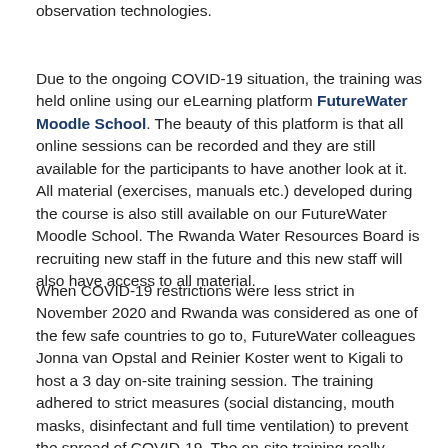observation technologies.
Due to the ongoing COVID-19 situation, the training was held online using our eLearning platform FutureWater Moodle School. The beauty of this platform is that all online sessions can be recorded and they are still available for the participants to have another look at it. All material (exercises, manuals etc.) developed during the course is also still available on our FutureWater Moodle School. The Rwanda Water Resources Board is recruiting new staff in the future and this new staff will also have access to all material.
When COVID-19 restrictions were less strict in November 2020 and Rwanda was considered as one of the few safe countries to go to, FutureWater colleagues Jonna van Opstal and Reinier Koster went to Kigali to host a 3 day on-site training session. The training adhered to strict measures (social distancing, mouth masks, disinfectant and full time ventilation) to prevent the spread of COVID-19. The on-site training really added value to the course, since the trainers were capable of explaining things in more detail and look over shoulders of participants when they were working on assignments.